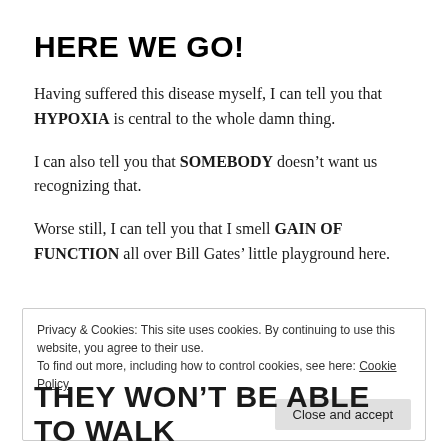HERE WE GO!
Having suffered this disease myself, I can tell you that HYPOXIA is central to the whole damn thing.
I can also tell you that SOMEBODY doesn't want us recognizing that.
Worse still, I can tell you that I smell GAIN OF FUNCTION all over Bill Gates' little playground here.
Privacy & Cookies: This site uses cookies. By continuing to use this website, you agree to their use. To find out more, including how to control cookies, see here: Cookie Policy
THEY WON'T BE ABLE TO WALK